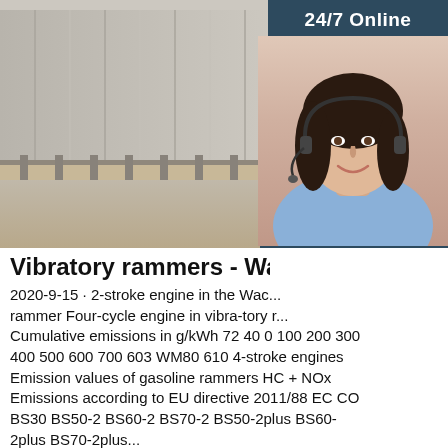[Figure (photo): Photo of corrugated metal storage containers/panels in a row, with sandy ground. Overlaid with a customer service representative with headset, a '24/7 Online' banner, a 'Click here for free chat!' button, and an orange 'QUOTATION' button.]
Vibratory rammers - Wacker Ne...
2020-9-15 · 2-stroke engine in the Wac... rammer Four-cycle engine in vibra-tory r... Cumulative emissions in g/kWh 72 40 0 100 200 300 400 500 600 700 603 WM80 610 4-stroke engines Emission values of gasoline rammers HC + NOx Emissions according to EU directive 2011/88 EC CO BS30 BS50-2 BS60-2 BS70-2 BS50-2plus BS60-2plus BS70-2plus...